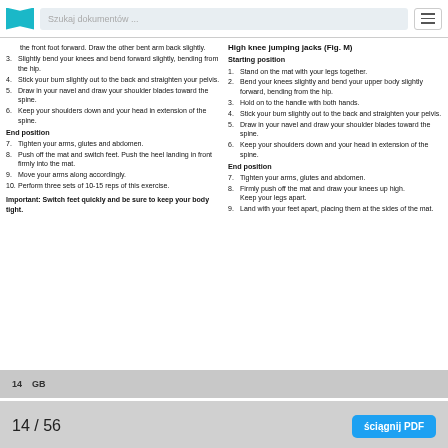Szukaj dokumentów ...
the front foot forward. Draw the other bent arm back slightly.
3. Slightly bend your knees and bend forward slightly, bending from the hip.
4. Stick your bum slightly out to the back and straighten your pelvis.
5. Draw in your navel and draw your shoulder blades toward the spine.
6. Keep your shoulders down and your head in extension of the spine.
End position
7. Tighten your arms, glutes and abdomen.
8. Push off the mat and switch feet. Push the heel landing in front firmly into the mat.
9. Move your arms along accordingly.
10. Perform three sets of 10-15 reps of this exercise.
Important: Switch feet quickly and be sure to keep your body tight.
High knee jumping jacks (Fig. M)
Starting position
1. Stand on the mat with your legs together.
2. Bend your knees slightly and bend your upper body slightly forward, bending from the hip.
3. Hold on to the handle with both hands.
4. Stick your bum slightly out to the back and straighten your pelvis.
5. Draw in your navel and draw your shoulder blades toward the spine.
6. Keep your shoulders down and your head in extension of the spine.
End position
7. Tighten your arms, glutes and abdomen.
8. Firmly push off the mat and draw your knees up high. Keep your legs apart.
9. Land with your feet apart, placing them at the sides of the mat.
14    GB